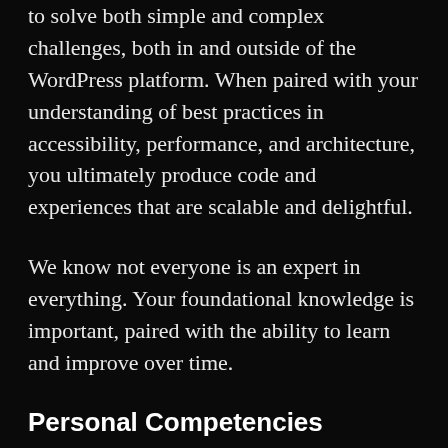to solve both simple and complex challenges, both in and outside of the WordPress platform. When paired with your understanding of best practices in accessibility, performance, and architecture, you ultimately produce code and experiences that are scalable and delightful.
We know not everyone is an expert in everything. Your foundational knowledge is important, paired with the ability to learn and improve over time.
Personal Competencies